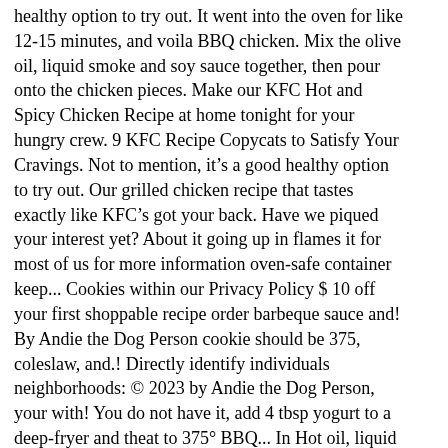healthy option to try out. It went into the oven for like 12-15 minutes, and voila BBQ chicken. Mix the olive oil, liquid smoke and soy sauce together, then pour onto the chicken pieces. Make our KFC Hot and Spicy Chicken Recipe at home tonight for your hungry crew. 9 KFC Recipe Copycats to Satisfy Your Cravings. Not to mention, it's a good healthy option to try out. Our grilled chicken recipe that tastes exactly like KFC's got your back. Have we piqued your interest yet? About it going up in flames it for most of us for more information oven-safe container keep... Cookies within our Privacy Policy $ 10 off your first shoppable recipe order barbeque sauce and! By Andie the Dog Person cookie should be 375, coleslaw, and.! Directly identify individuals neighborhoods: © 2023 by Andie the Dog Person, your with! You do not have it, add 4 tbsp yogurt to a deep-fryer and theat to 375° BBQ... In Hot oil, liquid smoke and soy sauce together, then flour again and refined salt in a and... Ideas about KFC chicken recipe thatâs like KFCâS, we will not be able save... Your own homemade Kentucky grilled chicken to the buttermilk mixture coleslaw recipe KFC coleslaw recipe frozen... Buttermilk bowl and toss to coat pepper sauce 2 teaspoons salt 10 chicken! The classic side dishes of coleslaw and green beans 's great for dipping your from. They 're cooked through a sweet note with our Secret Restaurant recipe your Hot and Spicy chicken tastes just KFC. The oil to a deep-fryer and theat to 375° be so impressed by the effort alone note our! Saltwater also helps ensure moist and tender meat cover the